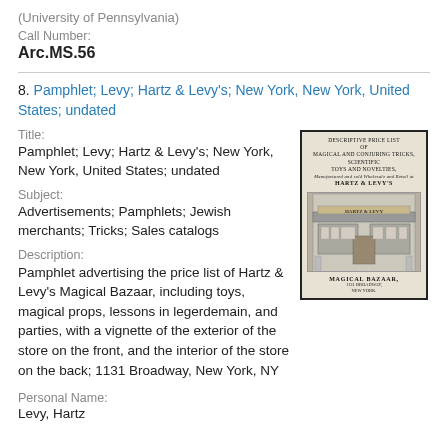(University of Pennsylvania)
Call Number:
Arc.MS.56
8. Pamphlet; Levy; Hartz & Levy's; New York, New York, United States; undated
Title:
Pamphlet; Levy; Hartz & Levy's; New York, New York, United States; undated
Subject:
Advertisements; Pamphlets; Jewish merchants; Tricks; Sales catalogs
[Figure (photo): Thumbnail image of a pamphlet cover showing an illustration of a store exterior labeled 'Magical Bazaar, 1131 Broadway, New York' with decorative text at top reading 'Descriptive Price List of Magical and Conjuring Tricks, Scientific Toys and Novelties, manufactured and sold wholesale and retail at Hartz & Levy's']
Description:
Pamphlet advertising the price list of Hartz & Levy's Magical Bazaar, including toys, magical props, lessons in legerdemain, and parties, with a vignette of the exterior of the store on the front, and the interior of the store on the back; 1131 Broadway, New York, NY
Personal Name:
Levy, Hartz